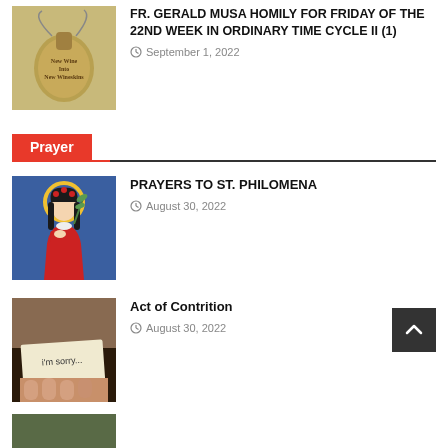[Figure (photo): Image of a brown wineskin/gourd with text 'New Wine Into New Wineskins']
FR. GERALD MUSA HOMILY FOR FRIDAY OF THE 22ND WEEK IN ORDINARY TIME CYCLE II (1)
September 1, 2022
Prayer
[Figure (illustration): Illustration of St. Philomena, a saint figure with halo holding a palm frond]
PRAYERS TO ST. PHILOMENA
August 30, 2022
[Figure (photo): Photo of a piece of paper with handwritten text 'i'm sorry...']
Act of Contrition
August 30, 2022
[Figure (photo): Partially visible photo at bottom of page]